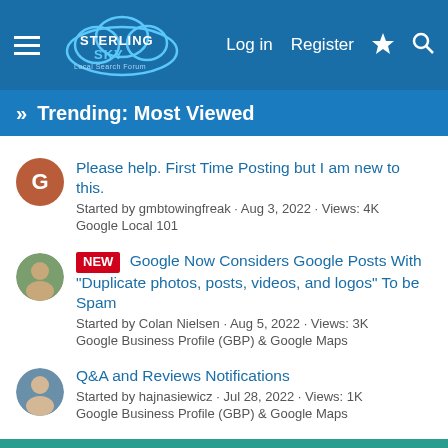[Figure (screenshot): Sterling Sky Local Search Forum navigation bar with hamburger menu, logo, Log in, Register, lightning bolt, and search icon on blue background]
» Trending: Most Viewed
Please help. First Time Posting but I am new to this.
Started by gmbtowingfreak · Aug 3, 2022 · Views: 4K
Google Local 101
NEW Google Now Considers Google Posts With "Duplicate photos, posts, videos, and logos" To be Spam
Started by Colan Nielsen · Aug 5, 2022 · Views: 3K
Google Business Profile (GBP) & Google Maps
Q&A and Reviews Notifications
Started by hajnasiewicz · Jul 28, 2022 · Views: 1K
Google Business Profile (GBP) & Google Maps
This site uses cookies to help personalise content, tailor your experience and to keep you logged in if you register.
By continuing to use this site, you are consenting to our use of cookies.